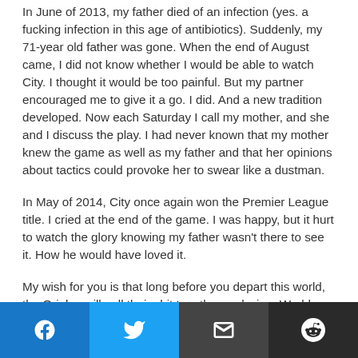In June of 2013, my father died of an infection (yes. a fucking infection in this age of antibiotics). Suddenly, my 71-year old father was gone. When the end of August came, I did not know whether I would be able to watch City. I thought it would be too painful. But my partner encouraged me to give it a go. I did. And a new tradition developed. Now each Saturday I call my mother, and she and I discuss the play. I had never known that my mother knew the game as well as my father and that her opinions about tactics could provoke her to swear like a dustman.
In May of 2014, City once again won the Premier League title. I cried at the end of the game. I was happy, but it hurt to watch the glory knowing my father wasn't there to see it. How he would have loved it.
My wish for you is that long before you depart this world, the Orioles will pull their shit together and win a World Series.
[Figure (infographic): Social share bar with four buttons: Facebook (blue), Twitter (light blue), Email (dark grey), Reddit (dark grey)]